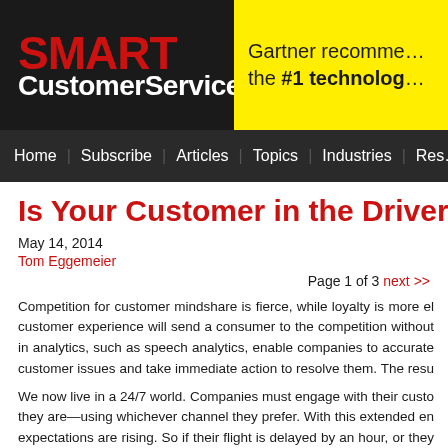SMART CustomerService
[Figure (logo): Smart CustomerService logo with red SMART text and white CustomerService text on black background]
[Figure (infographic): Yellow Gartner recommendation banner: Gartner recommends the #1 technology]
Home   Subscribe   Articles   Topics   Industries   Res…
Is Your Customer in the Driver's
May 14, 2014
Tom Eggemeier
Page 1 of 3 next >>
Competition for customer mindshare is fierce, while loyalty is more el customer experience will send a consumer to the competition without in analytics, such as speech analytics, enable companies to accurate customer issues and take immediate action to resolve them. The resu customers but to pinpoint new business opportunities.
We now live in a 24/7 world. Companies must engage with their custo they are—using whichever channel they prefer. With this extended en expectations are rising. So if their flight is delayed by an hour, or they which says it is open on Sundays until 8pm isn't, or even if their tax h